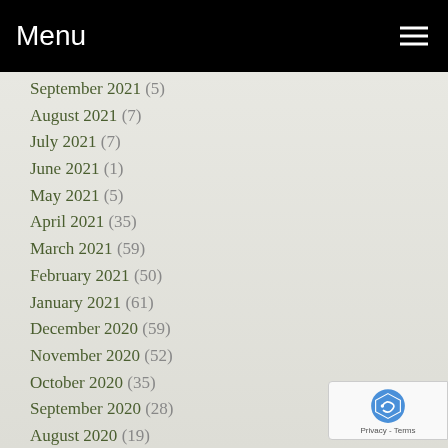Menu
September 2021 (5)
August 2021 (7)
July 2021 (7)
June 2021 (1)
May 2021 (5)
April 2021 (35)
March 2021 (59)
February 2021 (50)
January 2021 (61)
December 2020 (59)
November 2020 (52)
October 2020 (35)
September 2020 (28)
August 2020 (19)
July 2020 (19)
June 2020 (13)
May 2020 (60)
April 2020 (47)
March 2020 (47)